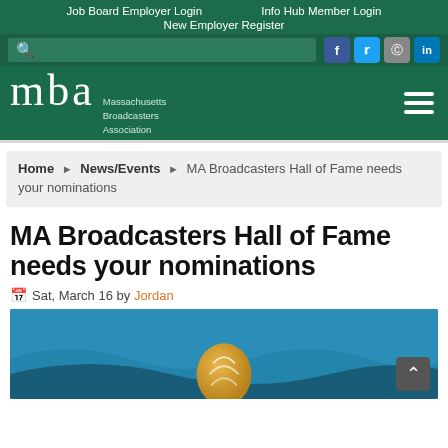Job Board Employer Login   Info Hub Member Login   New Employer Register
[Figure (screenshot): Search bar with magnifier icon and social media icons: Facebook, Twitter, Instagram, LinkedIn]
[Figure (logo): MBA Massachusetts Broadcasters Association logo on dark green background with hamburger menu icon]
Home ▶ News/Events ▶ MA Broadcasters Hall of Fame needs your nominations
MA Broadcasters Hall of Fame needs your nominations
Sat, March 16 by Jordan
[Figure (illustration): Teal/blue decorative background with a gold award medallion or disc partially visible at bottom center]